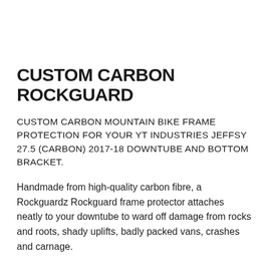CUSTOM CARBON ROCKGUARD
CUSTOM CARBON MOUNTAIN BIKE FRAME PROTECTION FOR YOUR YT INDUSTRIES JEFFSY 27.5 (CARBON) 2017-18 DOWNTUBE AND BOTTOM BRACKET.
Handmade from high-quality carbon fibre, a Rockguardz Rockguard frame protector attaches neatly to your downtube to ward off damage from rocks and roots, shady uplifts, badly packed vans, crashes and carnage.
Every Rockguard is handcrafted and custom made to exactly fit your frame. It's super light, tough as nails, effortlessly stylish